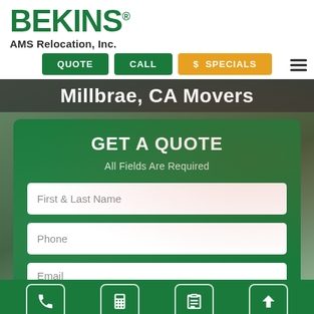[Figure (logo): Bekins AMS Relocation, Inc. logo — green BEKINS text with registered trademark, subtitle AMS Relocation, Inc.]
QUOTE   CALL   $ SPECIALS
Millbrae, CA Movers
GET A QUOTE
All Fields Are Required
First & Last Name
Phone
Email
[Figure (screenshot): Bottom navigation bar with phone, calculator, clipboard, and up-arrow icons on green background]